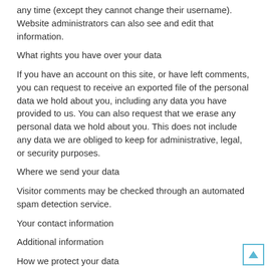any time (except they cannot change their username). Website administrators can also see and edit that information.
What rights you have over your data
If you have an account on this site, or have left comments, you can request to receive an exported file of the personal data we hold about you, including any data you have provided to us. You can also request that we erase any personal data we hold about you. This does not include any data we are obliged to keep for administrative, legal, or security purposes.
Where we send your data
Visitor comments may be checked through an automated spam detection service.
Your contact information
Additional information
How we protect your data
What data breach procedures we have in place